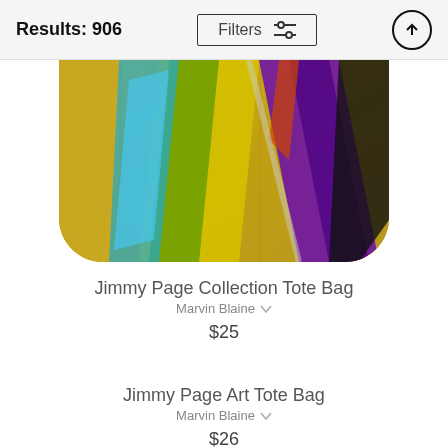Results: 906
Filters
[Figure (photo): Tote bag with colorful abstract art featuring yellows, purples, greens on a gold background, rounded bottom corners visible]
Jimmy Page Collection Tote Bag
Marvin Blaine
$25
Jimmy Page Art Tote Bag
Marvin Blaine
$26